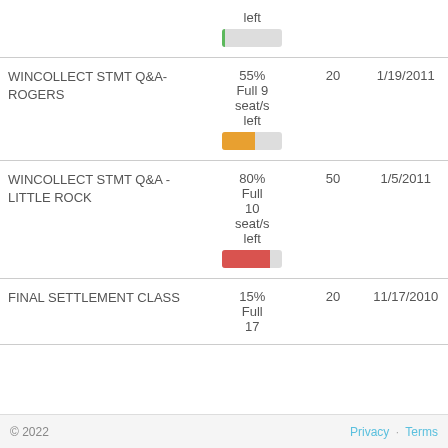| Course | Availability | Seats | Date |
| --- | --- | --- | --- |
|  | left
[green bar ~5%] |  |  |
| WINCOLLECT STMT Q&A-ROGERS | 55% Full
9 seat/s left
[orange bar ~55%] | 20 | 1/19/2011 |
| WINCOLLECT STMT Q&A -LITTLE ROCK | 80% Full
10 seat/s left
[red bar ~80%] | 50 | 1/5/2011 |
| FINAL SETTLEMENT CLASS | 15% Full
17 | 20 | 11/17/2010 |
© 2022   Privacy · Terms